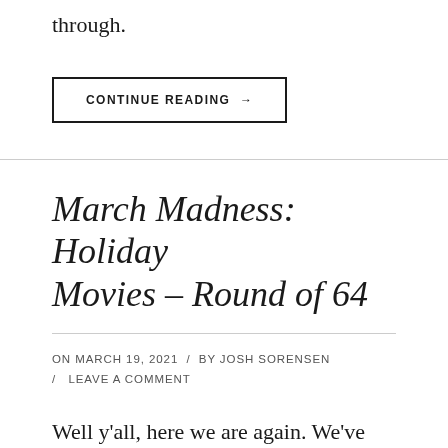through.
CONTINUE READING →
March Madness: Holiday Movies – Round of 64
ON MARCH 19, 2021 / BY JOSH SORENSEN / LEAVE A COMMENT
Well y'all, here we are again. We've been